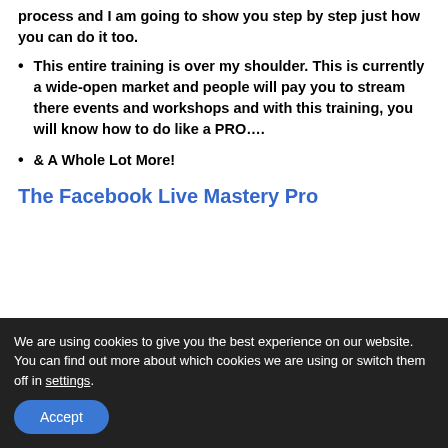process and I am going to show you step by step just how you can do it too.
This entire training is over my shoulder. This is currently a wide-open market and people will pay you to stream there events and workshops and with this training, you will know how to do like a PRO….
& A Whole Lot More!
The Facebook Live Mastery Pro
We are using cookies to give you the best experience on our website.
You can find out more about which cookies we are using or switch them off in settings.